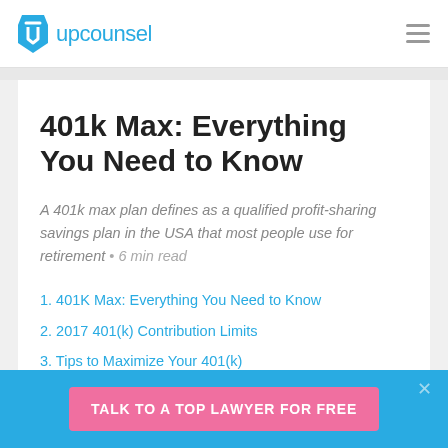upcounsel
401k Max: Everything You Need to Know
A 401k max plan defines as a qualified profit-sharing savings plan in the USA that most people use for retirement • 6 min read
1. 401K Max: Everything You Need to Know
2. 2017 401(k) Contribution Limits
3. Tips to Maximize Your 401(k)
TALK TO A TOP LAWYER FOR FREE